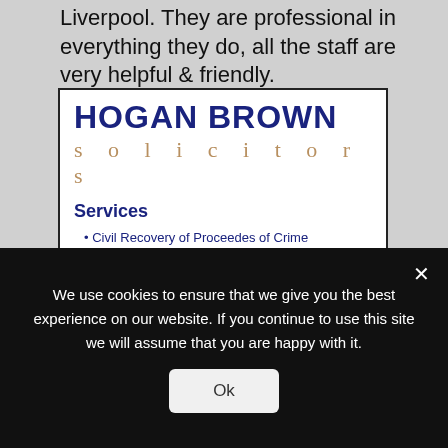Liverpool. They are professional in everything they do, all the staff are very helpful & friendly.
[Figure (logo): Hogan Brown Solicitors advertisement box with logo, services list, and emergency 24 hour number text]
We use cookies to ensure that we give you the best experience on our website. If you continue to use this site we will assume that you are happy with it.